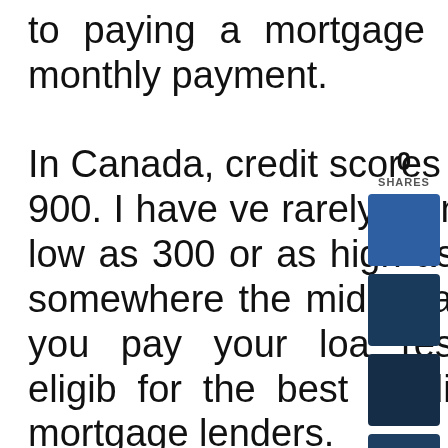to paying a mortgage loan and making your monthly payment.

In Canada, credit scores range between 300 and 900. I have very rarely found a credit score to be as low as 300 or as high as 900; however, if you are somewhere in the middle and can demonstrate that you pay your loans responsibly, you will be eligible for the best credit products with the best mortgage lenders.